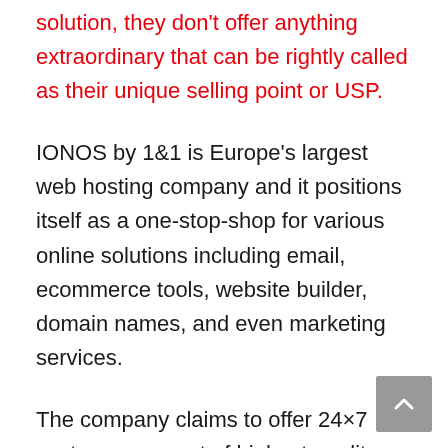solution, they don't offer anything extraordinary that can be rightly called as their unique selling point or USP.
IONOS by 1&1 is Europe's largest web hosting company and it positions itself as a one-stop-shop for various online solutions including email, ecommerce tools, website builder, domain names, and even marketing services.
The company claims to offer 24×7 customer support of highest quality and even promises a 99.9% uptime. According to them, they cannot do anything about natural disasters that can disrupt